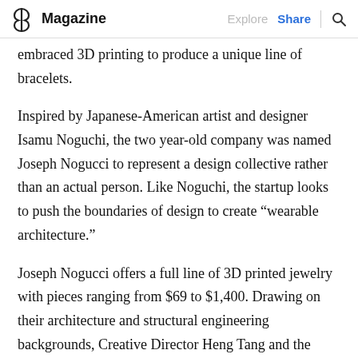Magazine | Explore  Share
embraced 3D printing to produce a unique line of bracelets.
Inspired by Japanese-American artist and designer Isamu Noguchi, the two year-old company was named Joseph Nogucci to represent a design collective rather than an actual person. Like Noguchi, the startup looks to push the boundaries of design to create “wearable architecture.”
Joseph Nogucci offers a full line of 3D printed jewelry with pieces ranging from $69 to $1,400. Drawing on their architecture and structural engineering backgrounds, Creative Director Heng Tang and the brothers, design each and every piece in their Morfolgi collection at their